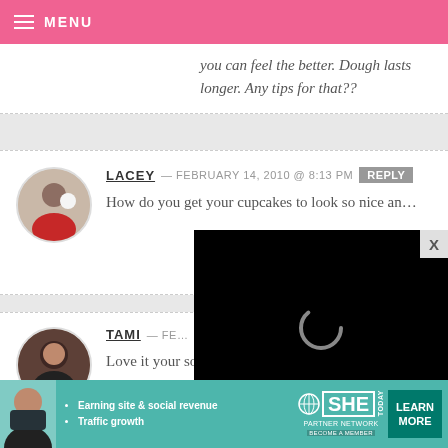MENU
you can feel the better. Dough lasts longer. Any tips for that??
LACEY — FEBRUARY 14, 2010 @ 8:13 PM  REPLY
How do you get your cupcakes to look so nice an…
[Figure (other): Black video overlay panel with spinning loading indicator]
TAMI — FE…
Love it your soo creative!
[Figure (infographic): SHE Partner Network advertisement banner: Earning site & social revenue, Traffic growth, LEARN MORE button]